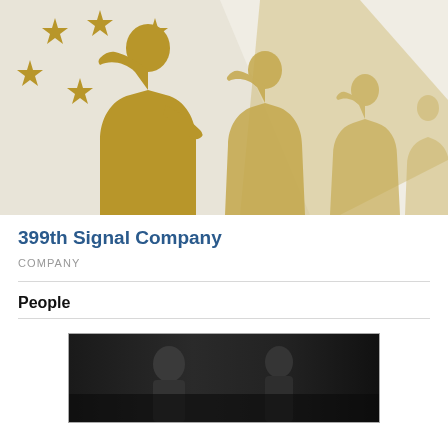[Figure (illustration): Military saluting silhouettes illustration with gold/tan soldiers saluting against a cream and gold background, with gold stars in the upper left corner. Multiple overlapping silhouettes of soldiers in saluting poses.]
399th Signal Company
COMPANY
People
[Figure (photo): Black and white historical photograph showing military personnel, partially visible at the bottom of the page.]